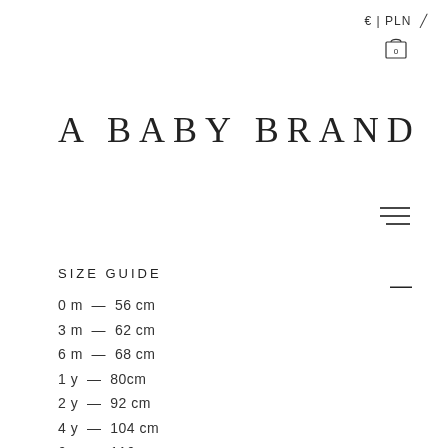€ | PLN
A BABY BRAND
SIZE GUIDE
0 m — 56 cm
3 m — 62 cm
6 m — 68 cm
1 y — 80cm
2 y — 92 cm
4 y — 104 cm
6 y — 116 cm